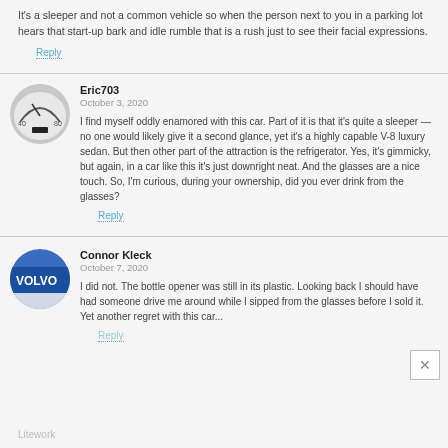It's a sleeper and not a common vehicle so when the person next to you in a parking lot hears that start-up bark and idle rumble that is a rush just to see their facial expressions.
Reply
Eric703
October 3, 2020
I find myself oddly enamored with this car. Part of it is that it's quite a sleeper — no one would likely give it a second glance, yet it's a highly capable V-8 luxury sedan. But then other part of the attraction is the refrigerator. Yes, it's gimmicky, but again, in a car like this it's just downright neat. And the glasses are a nice touch. So, I'm curious, during your ownership, did you ever drink from the glasses?
Reply
Connor Kleck
October 7, 2020
I did not. The bottle opener was still in its plastic. Looking back I should have had someone drive me around while I sipped from the glasses before I sold it. Yet another regret with this car...
Reply
Litework